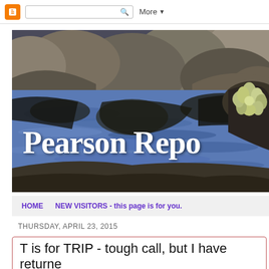Blogger navigation bar with search and More menu
[Figure (photo): Blog header image showing a pond with dark water, rocks, and a succulent plant in the upper right. White text reads 'Pearson Repo' (partially cropped).]
HOME    NEW VISITORS - this page is for you.
THURSDAY, APRIL 23, 2015
T is for TRIP - tough call, but I have returne